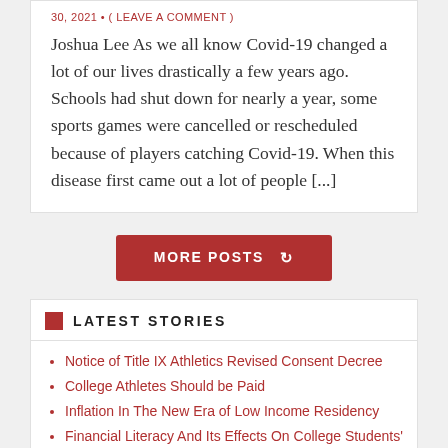30, 2021 • ( LEAVE A COMMENT )
Joshua Lee As we all know Covid-19 changed a lot of our lives drastically a few years ago. Schools had shut down for nearly a year, some sports games were cancelled or rescheduled because of players catching Covid-19. When this disease first came out a lot of people [...]
MORE POSTS
LATEST STORIES
Notice of Title IX Athletics Revised Consent Decree
College Athletes Should be Paid
Inflation In The New Era of Low Income Residency
Financial Literacy And Its Effects On College Students' Lives
Personal Interview of Maya Tillman, Delaware State University, Dover, Delaware